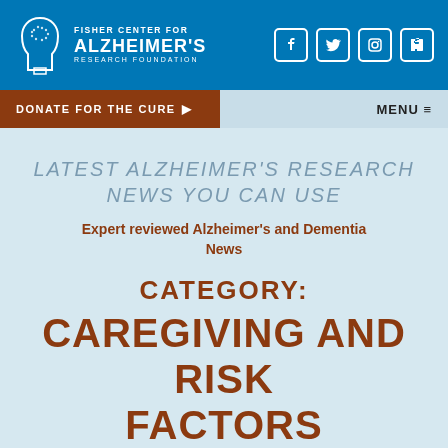[Figure (logo): Fisher Center for Alzheimer's Research Foundation logo with brain icon and social media icons (Facebook, Twitter, Instagram, LinkedIn) on blue header bar]
DONATE FOR THE CURE ▶    MENU ≡
LATEST ALZHEIMER'S RESEARCH NEWS YOU CAN USE
Expert reviewed Alzheimer's and Dementia News
CATEGORY: CAREGIVING AND RISK FACTORS